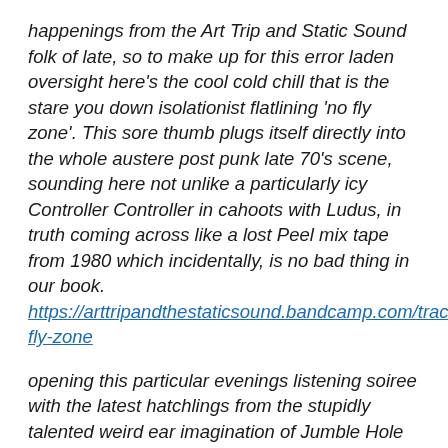happenings from the Art Trip and Static Sound folk of late, so to make up for this error laden oversight here's the cool cold chill that is the stare you down isolationist flatlining 'no fly zone'. This sore thumb plugs itself directly into the whole austere post punk late 70's scene, sounding here not unlike a particularly icy Controller Controller in cahoots with Ludus, in truth coming across like a lost Peel mix tape from 1980 which incidentally, is no bad thing in our book. https://arttripandthestaticsound.bandcamp.com/track/no-fly-zone
opening this particular evenings listening soiree with the latest hatchlings from the stupidly talented weird ear imagination of Jumble Hole Clough. Clearly a dude whose wiled away many a lost night digging the zounds of the mighty Zappa, 'Nutclough and elsewhere' takes recordings